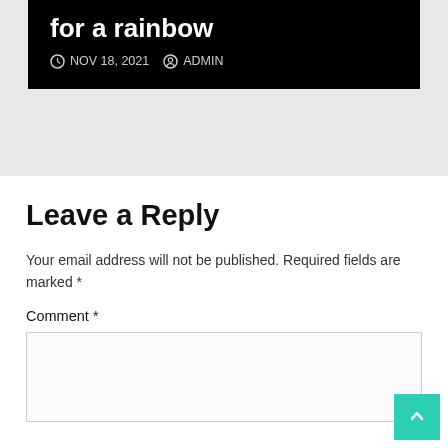for a rainbow
NOV 18, 2021  ADMIN
Leave a Reply
Your email address will not be published. Required fields are marked *
Comment *